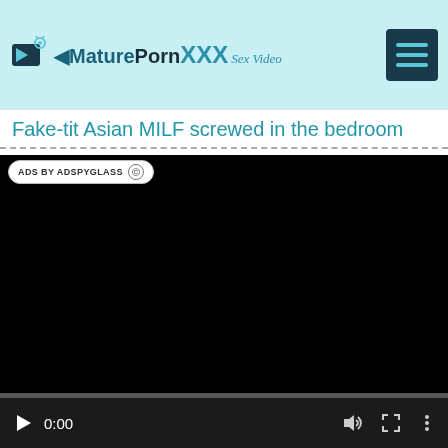MaturePornXXX Sex Video
Fake-tit Asian MILF screwed in the bedroom
[Figure (screenshot): Black video player area with ad badge overlay reading 'ADS BY ADSPYGLASS' and video controls at the bottom showing play button, time 0:00, volume, fullscreen, and more options icons, with a progress bar.]